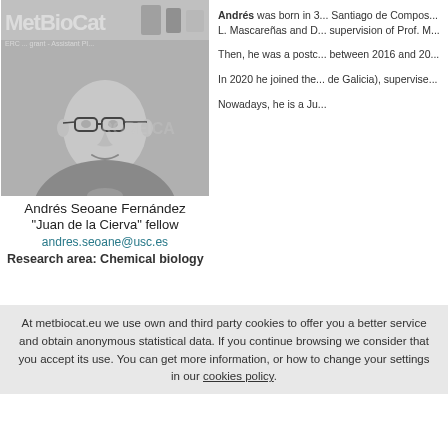[Figure (photo): Black and white photo of Andrés Seoane Fernández, a bald man with glasses, smiling, in a laboratory setting. Watermark text 'MetBioCat' and 'ERC...' visible in background.]
Andrés Seoane Fernández
"Juan de la Cierva" fellow
andres.seoane@usc.es
Research area: Chemical biology
Andrés was born in ... Santiago de Compos... L. Mascareñas and D... supervision of Prof. M...
Then, he was a postc... between 2016 and 20...
In 2020 he joined the... de Galicia), supervise...
Nowadays, he is a Ju...
At metbiocat.eu we use own and third party cookies to offer you a better service and obtain anonymous statistical data. If you continue browsing we consider that you accept its use. You can get more information, or how to change your settings in our cookies policy.